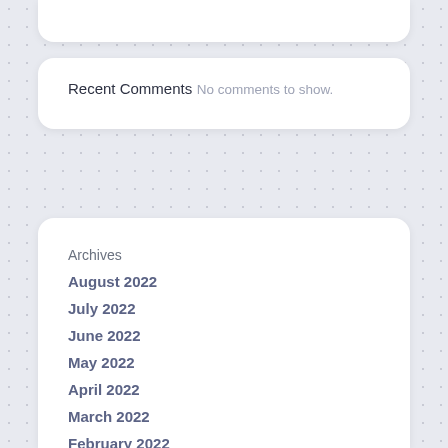Recent Comments
No comments to show.
Archives
August 2022
July 2022
June 2022
May 2022
April 2022
March 2022
February 2022
January 2022
March 2021
February 2021